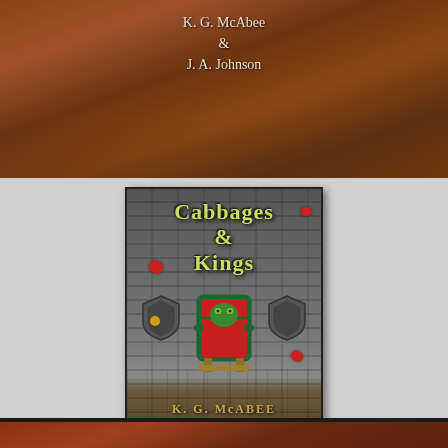[Figure (illustration): Top portion of a book cover showing a sandy/desert landscape with author names 'K. G. McAbee & J. A. Johnson' in light text]
[Figure (illustration): Book cover for 'Cabbages & Kings' by K. G. McAbee. Stone brick wall background with two shields, a green frog-like creature sitting on an ornate red and green throne, scattered red elements. Title in yellow-green gothic text at top, author name in gold at bottom.]
[Figure (illustration): Bottom strip of another book cover showing a reddish-brown desert/landscape background with a partial figure visible]